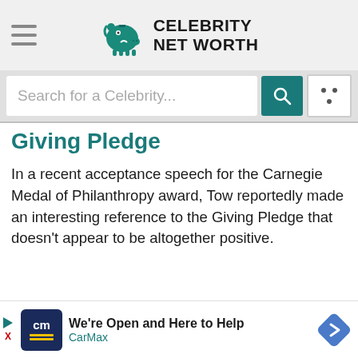Celebrity Net Worth
Search for a Celebrity...
Giving Pledge
In a recent acceptance speech for the Carnegie Medal of Philanthropy award, Tow reportedly made an interesting reference to the Giving Pledge that doesn't appear to be altogether positive.
[Figure (other): CarMax advertisement banner: We're Open and Here to Help]